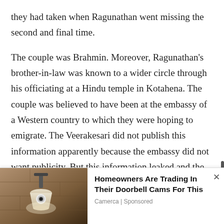they had taken when Ragunathan went missing the second and final time.

The couple was Brahmin. Moreover, Ragunathan's brother-in-law was known to a wider circle through his officiating at a Hindu temple in Kotahena. The couple was believed to have been at the embassy of a Western country to which they were hoping to emigrate. The Veerakesari did not publish this information apparently because the embassy did not want publicity. But this information leaked and the Veerakesari denied it to those who inquired. It was much later that the senior
[Figure (photo): Advertisement banner showing a wall-mounted security camera light fixture on a stone wall, promoting Homeowners Are Trading In Their Doorbell Cams For This by Camerca (Sponsored)]